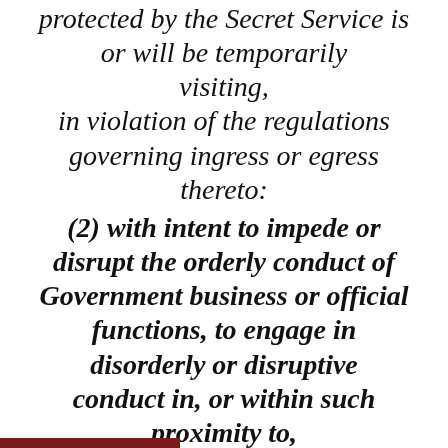protected by the Secret Service is or will be temporarily visiting, in violation of the regulations governing ingress or egress thereto: (2) with intent to impede or disrupt the orderly conduct of Government business or official functions, to engage in disorderly or disruptive conduct in, or within such proximity to, any building or grounds